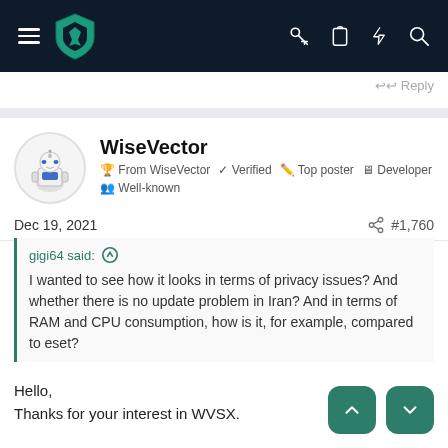[Figure (screenshot): Navigation bar with hamburger menu, teal shield logo, and icons for key, clipboard, lightning bolt, and search on dark navy background]
↩↩ Reply
WiseVector
🏆 From WiseVector ✓ Verified ✏️ Top poster 🖥️ Developer
👥 Well-known
Dec 19, 2021
#1,760
gigi64 said: ↑

I wanted to see how it looks in terms of privacy issues? And whether there is no update problem in Iran? And in terms of RAM and CPU consumption, how is it, for example, compared to eset?
Hello,
Thanks for your interest in WVSX.